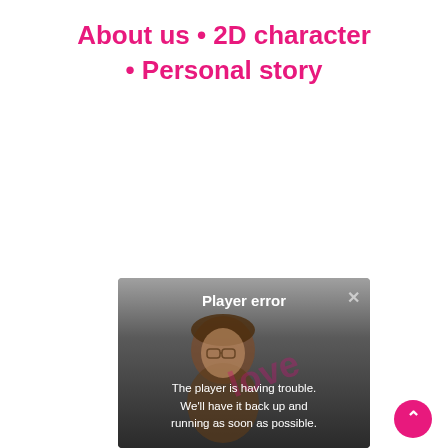About us • 2D character • Personal story
[Figure (screenshot): A player error dialog box with a dark gradient background, showing a cartoon character illustration in the background. The dialog shows 'Player error' as the title and a message 'The player is having trouble. We'll have it back up and running as soon as possible.' with a close (×) button in the top right. There is also a pink circular scroll-to-top button in the bottom right of the page.]